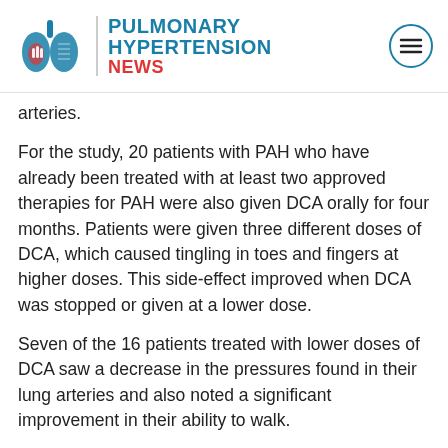PULMONARY HYPERTENSION NEWS
arteries.
For the study, 20 patients with PAH who have already been treated with at least two approved therapies for PAH were also given DCA orally for four months. Patients were given three different doses of DCA, which caused tingling in toes and fingers at higher doses. This side-effect improved when DCA was stopped or given at a lower dose.
Seven of the 16 patients treated with lower doses of DCA saw a decrease in the pressures found in their lung arteries and also noted a significant improvement in their ability to walk.
“The overgrowth of cells in PAH arteries looks a lot like the growth of cancer cells, where the mitochondria are also dysfunctional and DCA has